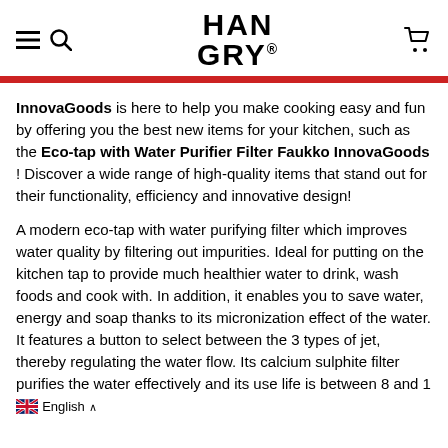HANGRY
InnovaGoods is here to help you make cooking easy and fun by offering you the best new items for your kitchen, such as the Eco-tap with Water Purifier Filter Faukko InnovaGoods ! Discover a wide range of high-quality items that stand out for their functionality, efficiency and innovative design!
A modern eco-tap with water purifying filter which improves water quality by filtering out impurities. Ideal for putting on the kitchen tap to provide much healthier water to drink, wash foods and cook with. In addition, it enables you to save water, energy and soap thanks to its micronization effect of the water. It features a button to select between the 3 types of jet, thereby regulating the water flow. Its calcium sulphite filter purifies the water effectively and its use life is between 8 and 1
English